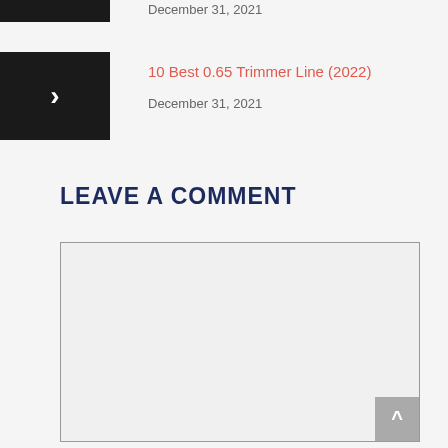December 31, 2021
10 Best 0.65 Trimmer Line (2022)
December 31, 2021
LEAVE A COMMENT
[Figure (other): Empty comment text area input box with a scroll-to-top button in the bottom right corner]